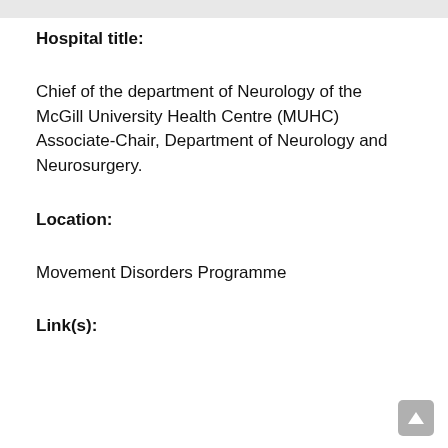Hospital title:
Chief of the department of Neurology of the McGill University Health Centre (MUHC)
Associate-Chair, Department of Neurology and Neurosurgery.
Location:
Movement Disorders Programme
Link(s):